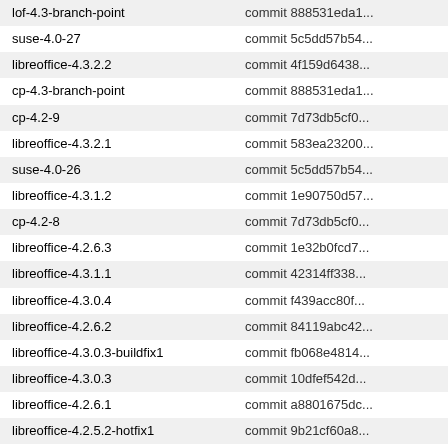| lof-4.3-branch-point | commit 888531eda1... |
| suse-4.0-27 | commit 5c5dd57b54... |
| libreoffice-4.3.2.2 | commit 4f159d6438... |
| cp-4.3-branch-point | commit 888531eda1... |
| cp-4.2-9 | commit 7d73db5cf0... |
| libreoffice-4.3.2.1 | commit 583ea23200... |
| suse-4.0-26 | commit 5c5dd57b54... |
| libreoffice-4.3.1.2 | commit 1e90750d57... |
| cp-4.2-8 | commit 7d73db5cf0... |
| libreoffice-4.2.6.3 | commit 1e32b0fcd7... |
| libreoffice-4.3.1.1 | commit 42314ff338... |
| libreoffice-4.3.0.4 | commit f439acc80f... |
| libreoffice-4.2.6.2 | commit 84119abc42... |
| libreoffice-4.3.0.3-buildfix1 | commit fb068e4814... |
| libreoffice-4.3.0.3 | commit 10dfef542d... |
| libreoffice-4.2.6.1 | commit a8801675dc... |
| libreoffice-4.2.5.2-hotfix1 | commit 9b21cf60a8... |
| cp-4.2-7 | commit 7d73db5cf0... |
| libreoffice-4.3.0.2 | commit ac6ed15a74... |
| suse-4.0-25 | commit 5c5dd57b54... |
| cp-4.2-6 | commit 7d73db5cf0... |
| libreoffice-4.3.0.1-buildfix1 | commit 78b8b9c6ff... |
| libreoffice-4.3.0.1 | commit 6cff6c897f... |
| cp-4.1-9 | commit 7e41301c05... |
| cp-4.0-24 | commit 5c5dd57b54... |
| suse-4.0-24 | commit 5c5dd57b54... |